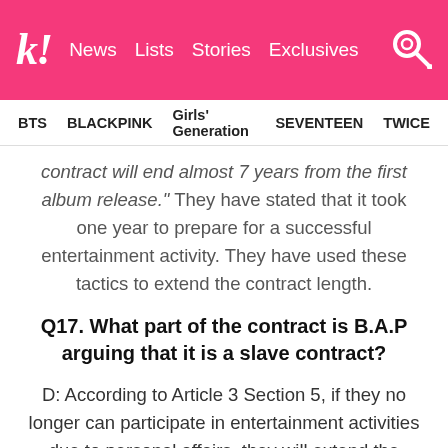k! News Lists Stories Exclusives
BTS   BLACKPINK   Girls' Generation   SEVENTEEN   TWICE
contract will end almost 7 years from the first album release." They have stated that it took one year to prepare for a successful entertainment activity. They have used these tactics to extend the contract length.
Q17. What part of the contract is B.A.P arguing that it is a slave contract?
D: According to Article 3 Section 5, if they no longer can participate in entertainment activities due to personal affairs, they will extend the contract terms. Basically, in response to military duties, infant care, or being hospitalized for